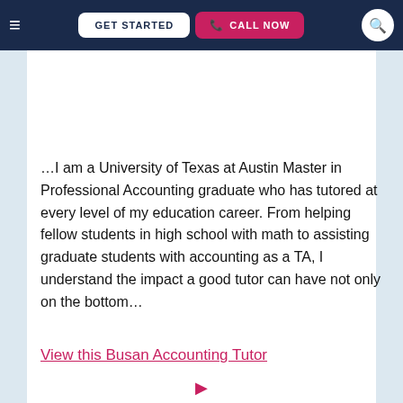≡  GET STARTED   📞 CALL NOW   🔍
GET STARTED
…I am a University of Texas at Austin Master in Professional Accounting graduate who has tutored at every level of my education career. From helping fellow students in high school with math to assisting graduate students with accounting as a TA, I understand the impact a good tutor can have not only on the bottom…
View this Busan Accounting Tutor